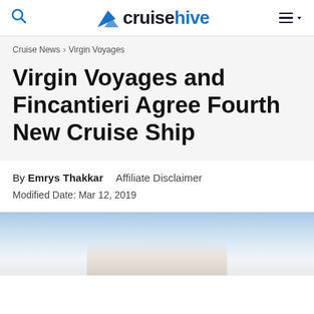cruisehive
Cruise News › Virgin Voyages
Virgin Voyages and Fincantieri Agree Fourth New Cruise Ship
By Emrys Thakkar   Affiliate Disclaimer
Modified Date: Mar 12, 2019
[Figure (photo): Partial view of a cruise ship against a light blue sky, bottom portion of image visible]